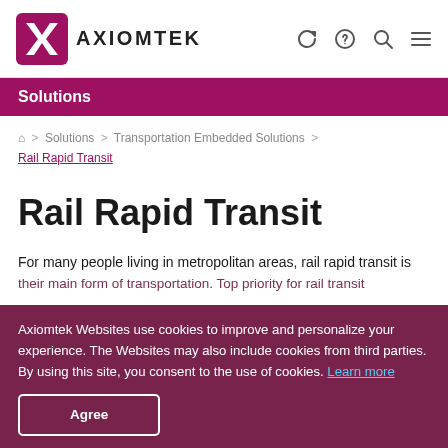AXIOMTEK
Solutions
⌂ > Solutions > Transportation Embedded Solutions > Rail Rapid Transit
Rail Rapid Transit
For many people living in metropolitan areas, rail rapid transit is their main form of transportation. Top priority for rail transit ... safety ... array of solutions to support different interfaces to enable voice and data transmission needed for passenger ...
Axiomtek Websites use cookies to improve and personalize your experience. The Websites may also include cookies from third parties. By using this site, you consent to the use of cookies. Learn more
Agree